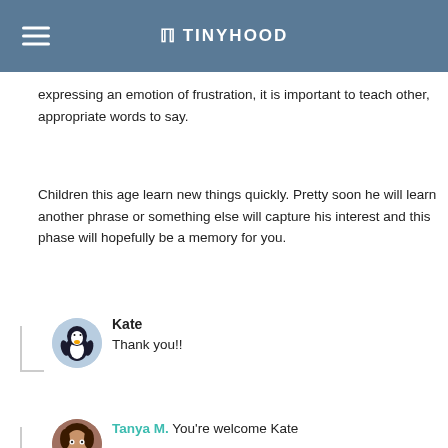Tinyhood
expressing an emotion of frustration, it is important to teach other, appropriate words to say.
Children this age learn new things quickly. Pretty soon he will learn another phrase or something else will capture his interest and this phase will hopefully be a memory for you.
Kate
Thank you!!
Tanya M. You're welcome Kate